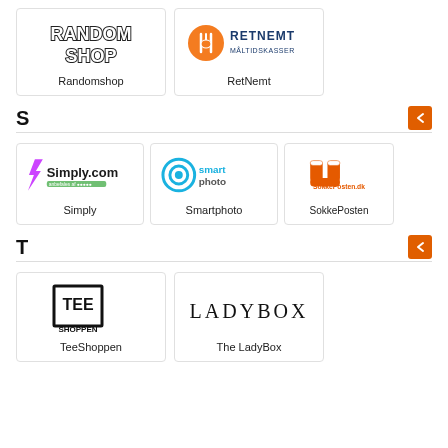[Figure (logo): Randomshop logo - stylized bubble letters saying RANDOM SHOP]
Randomshop
[Figure (logo): RetNemt logo - orange circle with fork/spoon icon, text RETNEMT MÅLTIDSKASSER]
RetNemt
S
[Figure (logo): Simply.com logo with lightning bolt and green text]
Simply
[Figure (logo): smartphoto logo - blue circle target icon with smartphoto text]
Smartphoto
[Figure (logo): SokkePosten.dk logo - orange socks illustration]
SokkePosten
T
[Figure (logo): TeeShoppen logo - TEE SHOPPEN in bold box]
TeeShoppen
[Figure (logo): LadyBox logo - LADYBOX in serif font]
The LadyBox